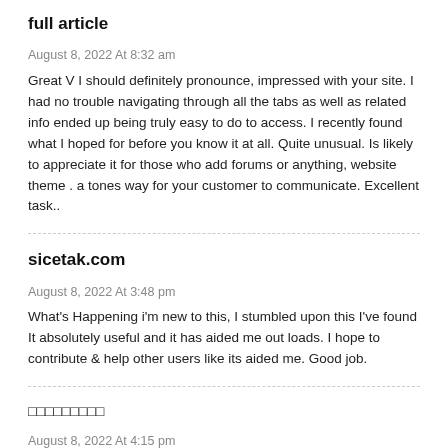full article
August 8, 2022 At 8:32 am
Great V I should definitely pronounce, impressed with your site. I had no trouble navigating through all the tabs as well as related info ended up being truly easy to do to access. I recently found what I hoped for before you know it at all. Quite unusual. Is likely to appreciate it for those who add forums or anything, website theme . a tones way for your customer to communicate. Excellent task..
sicetak.com
August 8, 2022 At 3:48 pm
What's Happening i'm new to this, I stumbled upon this I've found It absolutely useful and it has aided me out loads. I hope to contribute & help other users like its aided me. Good job.
□□□□□□□□□
August 8, 2022 At 4:15 pm
Wow! This can be one particular of the most helpful blogs We've ever arrive across on this subject. Actually Excellent. I am also a specialist in this topic so I can understand your effort.
□□□□□□□□□□□□□□□